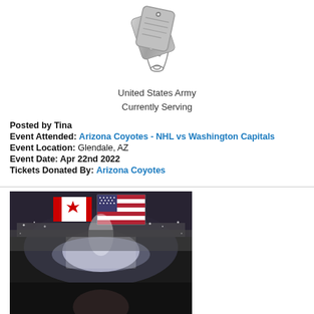[Figure (illustration): Military dog tags icon - two overlapping metallic dog tags on a chain, silver/grey colored]
United States Army
Currently Serving
Posted by Tina
Event Attended: Arizona Coyotes - NHL vs Washington Capitals
Event Location: Glendale, AZ
Event Date: Apr 22nd 2022
Tickets Donated By: Arizona Coyotes
[Figure (photo): Selfie photo taken at a hockey arena showing Canadian and American flags hanging from the arena ceiling, crowded stands with bright lights, person's head visible at the bottom of the frame]